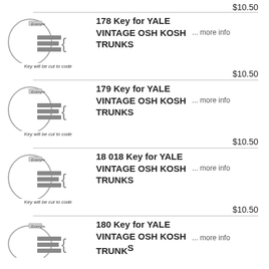$10.50
[Figure (illustration): Key illustration showing a trunk key with 'Example' label and 'Key will be cut to code' caption]
178 Key for YALE VINTAGE OSH KOSH TRUNKS
... more info
$10.50
[Figure (illustration): Key illustration showing a trunk key with 'Example' label and 'Key will be cut to code' caption]
179 Key for YALE VINTAGE OSH KOSH TRUNKS
... more info
$10.50
[Figure (illustration): Key illustration showing a trunk key with 'Example' label and 'Key will be cut to code' caption]
18 018 Key for YALE VINTAGE OSH KOSH TRUNKS
... more info
$10.50
[Figure (illustration): Key illustration showing a trunk key with 'Example' label and 'Key will be cut to code' caption]
180 Key for YALE VINTAGE OSH KOSH TRUNKS
... more info